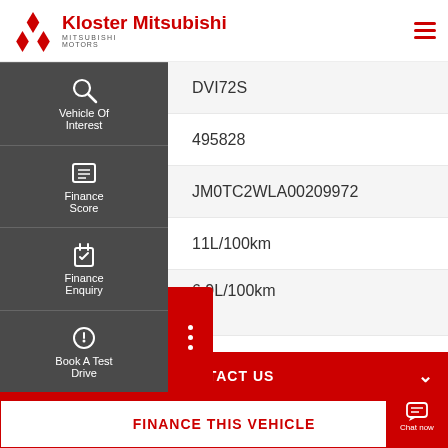Kloster Mitsubishi
| Field | Value |
| --- | --- |
| Rego | DVI72S |
| o | 495828 |
|  | JM0TC2WLA00209972 |
| onsumption | 11L/100km |
| onsumption (Urban) | 6.9L/100km |
| otion | 8.4L/100km |
CONTACT US
FINANCE THIS VEHICLE